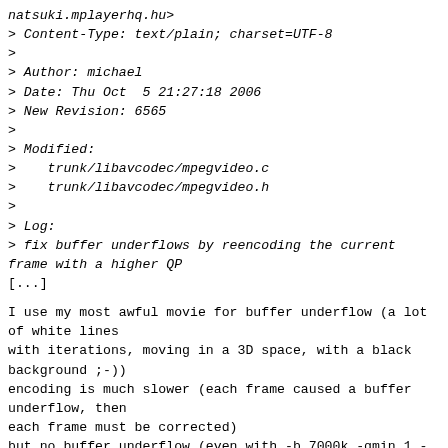natsuki.mplayerhq.hu>
> Content-Type: text/plain; charset=UTF-8
>
> Author: michael
> Date: Thu Oct  5 21:27:18 2006
> New Revision: 6565
>
> Modified:
>    trunk/libavcodec/mpegvideo.c
>    trunk/libavcodec/mpegvideo.h
>
> Log:
> fix buffer underflows by reencoding the current frame with a higher QP
[...]
I use my most awful movie for buffer underflow (a lot of white lines
with iterations, moving in a 3D space, with a black background ;-))
encoding is much slower (each frame caused a buffer underflow, then
each frame must be corrected)
but no buffer underflow (even with -b 7000k -qmin 1 -qmax 5), and I
manage to mux/author it with a not-tolerant software (=the resulting
stream is fully compliant)
info for the resulting stream (720frames WITHOUT buffer underflows):